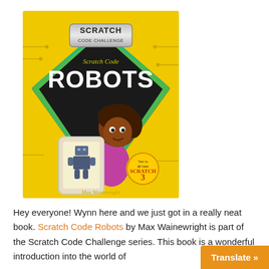[Figure (illustration): Book cover of 'Scratch Code Robots' by Max Wainewright. Part of the Scratch Code Challenge series. Features a cartoon girl holding a tablet displaying a robot, on a yellow circuit-board background with green and teal diagonal diamond design. Has a badge saying 'Yes to all new SCRATCH 3' in the corner.]
Hey everyone! Wynn here and we just got in a really neat book. Scratch Code Robots by Max Wainewright is part of the Scratch Code Challenge series. This book is a wonderful introduction into the world of
Translate »